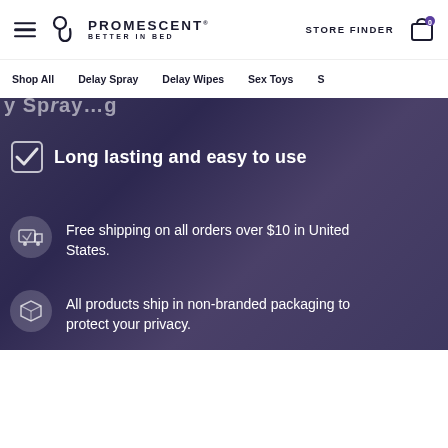Promescent — Better in Bed | STORE FINDER
Shop All | Delay Spray | Delay Wipes | Sex Toys | S…
Long lasting and easy to use
Free shipping on all orders over $10 in United States.
All products ship in non-branded packaging to protect your privacy.